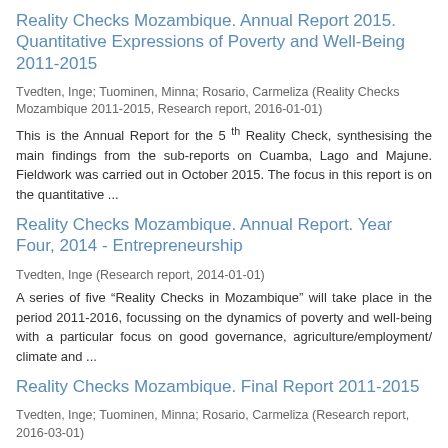Reality Checks Mozambique. Annual Report 2015. Quantitative Expressions of Poverty and Well-Being 2011-2015
Tvedten, Inge; Tuominen, Minna; Rosario, Carmeliza (Reality Checks Mozambique 2011-2015, Research report, 2016-01-01)
This is the Annual Report for the 5 th Reality Check, synthesising the main findings from the sub-reports on Cuamba, Lago and Majune. Fieldwork was carried out in October 2015. The focus in this report is on the quantitative ...
Reality Checks Mozambique. Annual Report. Year Four, 2014 - Entrepreneurship
Tvedten, Inge (Research report, 2014-01-01)
A series of five “Reality Checks in Mozambique” will take place in the period 2011-2016, focussing on the dynamics of poverty and well-being with a particular focus on good governance, agriculture/employment/ climate and ...
Reality Checks Mozambique. Final Report 2011-2015
Tvedten, Inge; Tuominen, Minna; Rosario, Carmeliza (Research report, 2016-03-01)
This is the Final Report, summing up and analysing the entire Reality Check series of studies. In line with the main objective/idea